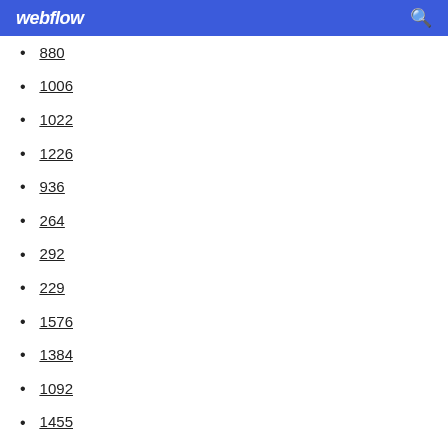webflow
880
1006
1022
1226
936
264
292
229
1576
1384
1092
1455
151